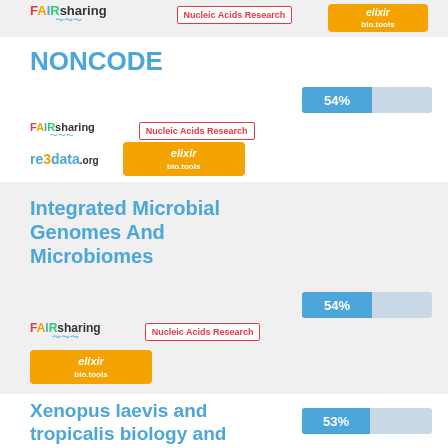[Figure (infographic): Top partial card showing FAIRsharing logo, Nucleic Acids Research badge, and an ELIXIR bio.tools orange badge, partially visible at top of page]
NONCODE
[Figure (infographic): NONCODE database card: FAIRsharing logo, Nucleic Acids Research badge, re3data.org logo, ELIXIR bio.tools orange badge, 54% progress bar]
Integrated Microbial Genomes And Microbiomes
[Figure (infographic): Integrated Microbial Genomes And Microbiomes card: FAIRsharing logo, Nucleic Acids Research badge, ELIXIR bio.tools orange badge, 54% progress bar]
Xenopus laevis and tropicalis biology and genomics resource
[Figure (infographic): Xenopus laevis card partial: 53% progress bar]